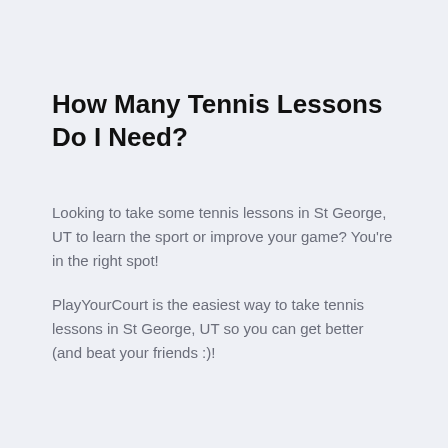How Many Tennis Lessons Do I Need?
Looking to take some tennis lessons in St George, UT to learn the sport or improve your game? You're in the right spot!
PlayYourCourt is the easiest way to take tennis lessons in St George, UT so you can get better (and beat your friends :)!